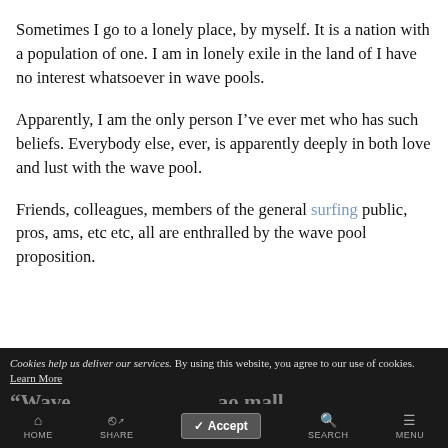Sometimes I go to a lonely place, by myself. It is a nation with a population of one. I am in lonely exile in the land of I have no interest whatsoever in wave pools.
Apparently, I am the only person I’ve ever met who has such beliefs. Everybody else, ever, is apparently deeply in both love and lust with the wave pool.
Friends, colleagues, members of the general surfing public, pros, ams, etc etc, all are enthralled by the wave pool proposition.
Cookies help us deliver our services. By using this website, you agree to our use of cookies. Learn More | Accept | “Wave... ao mall | HOME | SHARE | SEARCH | MENU